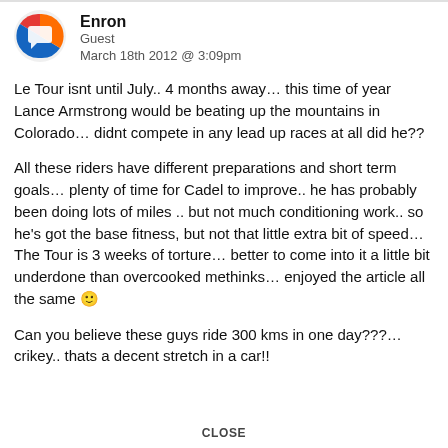Enron
Guest
March 18th 2012 @ 3:09pm
Le Tour isnt until July.. 4 months away… this time of year Lance Armstrong would be beating up the mountains in Colorado… didnt compete in any lead up races at all did he??
All these riders have different preparations and short term goals… plenty of time for Cadel to improve.. he has probably been doing lots of miles .. but not much conditioning work.. so he's got the base fitness, but not that little extra bit of speed… The Tour is 3 weeks of torture… better to come into it a little bit underdone than overcooked methinks… enjoyed the article all the same 🙂
Can you believe these guys ride 300 kms in one day???… crikey.. thats a decent stretch in a car!!
CLOSE